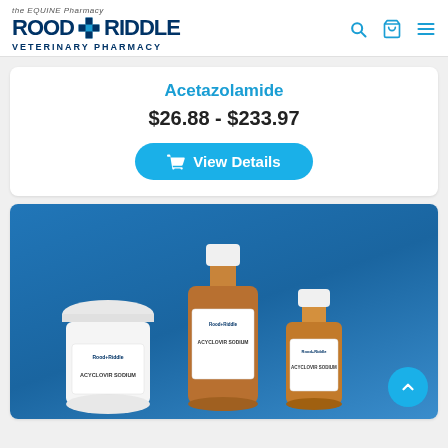[Figure (logo): Rood & Riddle Veterinary Pharmacy logo with 'the EQUINE Pharmacy' tagline and blue cross icon]
Acetazolamide
$26.88 - $233.97
View Details
[Figure (photo): Three pharmaceutical containers labeled 'Acyclovir Sodium' — a white tub, a large amber bottle, and a small amber bottle — on a blue background]